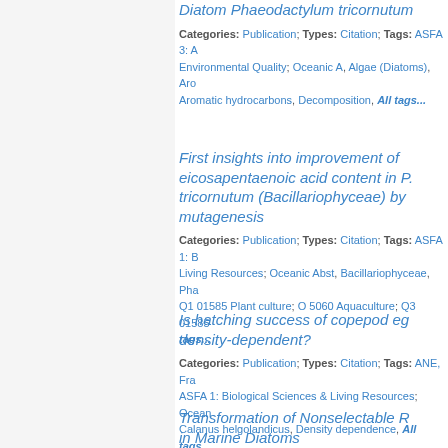Diatom Phaeodactylum tricornutum...
Categories: Publication; Types: Citation; Tags: ASFA 3: Aquatic Pollution & Environmental Quality; Oceanic A, Algae (Diatoms), Aromatic hydrocarbons, Decomposition, All tags...
First insights into improvement of eicosapentaenoic acid content in P. tricornutum (Bacillariophyceae) by mutagenesis
Categories: Publication; Types: Citation; Tags: ASFA 1: Biological Sciences & Living Resources; Oceanic Abst, Bacillariophyceae, Pha...; Q1 01585 Plant culture; O 5060 Aquaculture; Q3 01585... All tags...
Is hatching success of copepod eggs density-dependent?
Categories: Publication; Types: Citation; Tags: ANE, Fra...; ASFA 1: Biological Sciences & Living Resources; Ocean...; Calanus helgolandicus, Density dependence, All tags...
Transformation of Nonselectable R... in Marine Diatoms